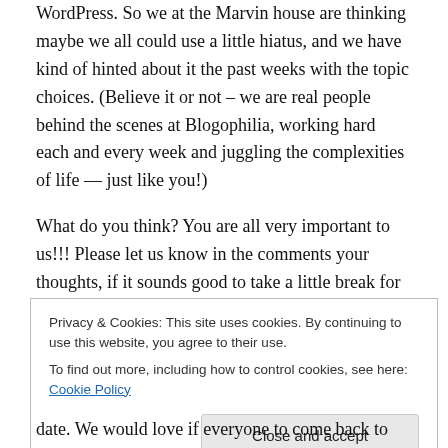WordPress. So we at the Marvin house are thinking maybe we all could use a little hiatus, and we have kind of hinted about it the past weeks with the topic choices. (Believe it or not – we are real people behind the scenes at Blogophilia, working hard each and every week and juggling the complexities of life — just like you!)
What do you think? You are all very important to us!!! Please let us know in the comments your thoughts, if it sounds good to take a little break for a bit. If you're not comfortable with stating your thoughts or opinion publicly,
Privacy & Cookies: This site uses cookies. By continuing to use this website, you agree to their use.
To find out more, including how to control cookies, see here: Cookie Policy
Close and accept
date. We would love if everyone to come back to